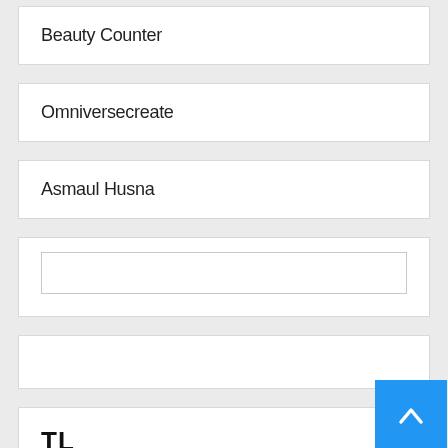Beauty Counter
Omniversecreate
Asmaul Husna
TL